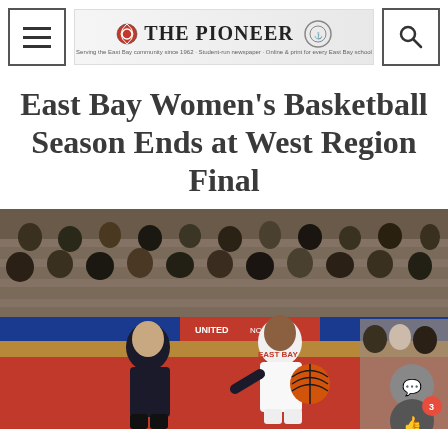THE PIONEER
East Bay Women's Basketball Season Ends at West Region Final
[Figure (photo): Two basketball players on court — an East Bay player in white jersey dribbling the ball defended by a San Rafael player in dark jersey #22, with crowd in background and NCAA banner visible. The court floor is red.]